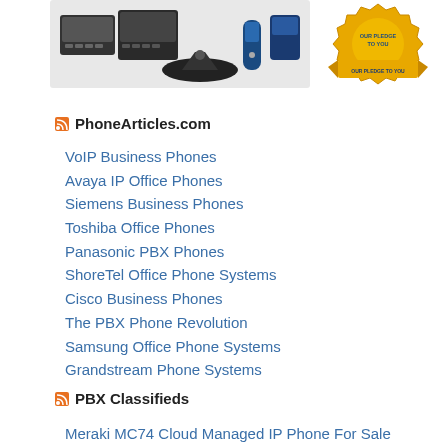[Figure (photo): Collection of VoIP and business phones including desk phones, conference phone, and cordless handsets]
[Figure (logo): Our Pledge To You badge with gold/yellow ribbon design]
PhoneArticles.com
VoIP Business Phones
Avaya IP Office Phones
Siemens Business Phones
Toshiba Office Phones
Panasonic PBX Phones
ShoreTel Office Phone Systems
Cisco Business Phones
The PBX Phone Revolution
Samsung Office Phone Systems
Grandstream Phone Systems
PBX Classifieds
Meraki MC74 Cloud Managed IP Phone For Sale